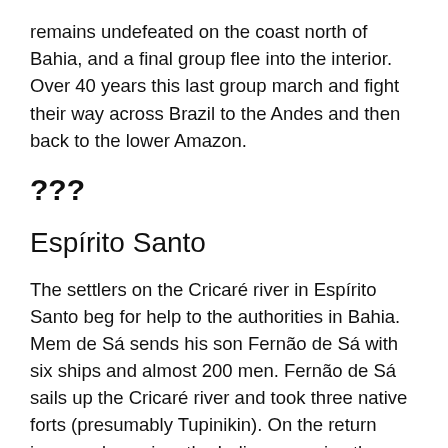remains undefeated on the coast north of Bahia, and a final group flee into the interior. Over 40 years this last group march and fight their way across Brazil to the Andes and then back to the lower Amazon.
???
Espírito Santo
The settlers on the Cricaré river in Espírito Santo beg for help to the authorities in Bahia. Mem de Sá sends his son Fernão de Sá with six ships and almost 200 men. Fernão de Sá sails up the Cricaré river and took three native forts (presumably Tupinikin). On the return journey down river the Indians surprise the Portuguese foot, who